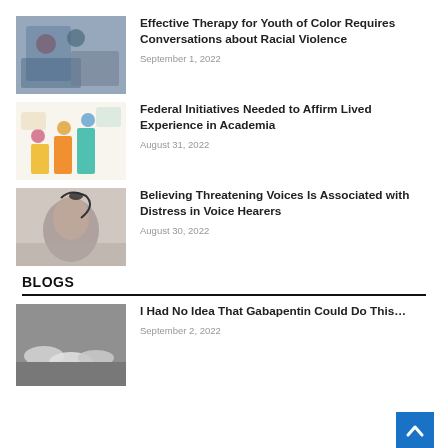[Figure (photo): Two people, appearing to be youth of color, looking at a laptop together]
Effective Therapy for Youth of Color Requires Conversations about Racial Violence
September 1, 2022
[Figure (illustration): Colorful illustration of figures on blocks, representing diversity in academia]
Federal Initiatives Needed to Affirm Lived Experience in Academia
August 31, 2022
[Figure (photo): Close-up of a human ear with a bird flying out, representing hearing voices]
Believing Threatening Voices Is Associated with Distress in Voice Hearers
August 30, 2022
BLOGS
[Figure (photo): Several white oval pills/tablets on a gray surface, representing Gabapentin]
I Had No Idea That Gabapentin Could Do This…
September 2, 2022